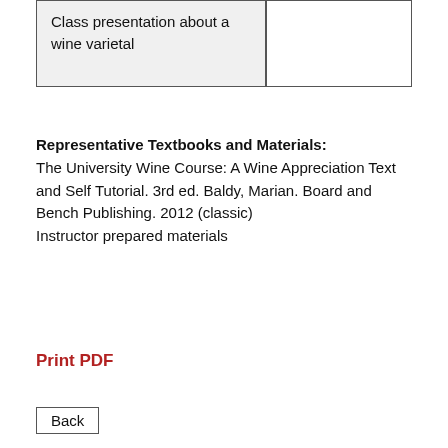| Class presentation about a wine varietal |  |
Representative Textbooks and Materials:
The University Wine Course: A Wine Appreciation Text and Self Tutorial. 3rd ed. Baldy, Marian. Board and Bench Publishing. 2012 (classic)
Instructor prepared materials
Print PDF
Back